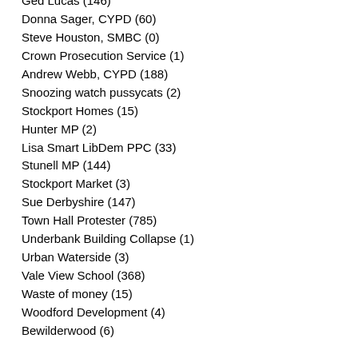Ged Lucas (146)
Donna Sager, CYPD (60)
Steve Houston, SMBC (0)
Crown Prosecution Service (1)
Andrew Webb, CYPD (188)
Snoozing watch pussycats (2)
Stockport Homes (15)
Hunter MP (2)
Lisa Smart LibDem PPC (33)
Stunell MP (144)
Stockport Market (3)
Sue Derbyshire (147)
Town Hall Protester (785)
Underbank Building Collapse (1)
Urban Waterside (3)
Vale View School (368)
Waste of money (15)
Woodford Development (4)
Bewilderwood (6)